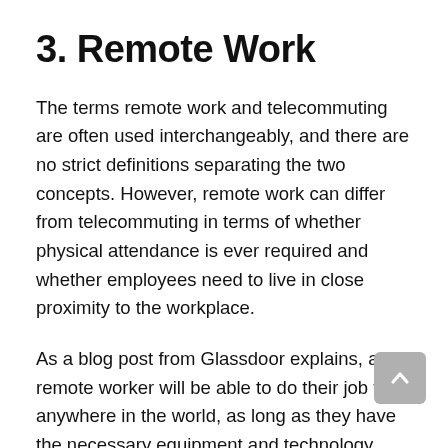3. Remote Work
The terms remote work and telecommuting are often used interchangeably, and there are no strict definitions separating the two concepts. However, remote work can differ from telecommuting in terms of whether physical attendance is ever required and whether employees need to live in close proximity to the workplace.
As a blog post from Glassdoor explains, a remote worker will be able to do their job from anywhere in the world, as long as they have the necessary equipment and technology, such as a computer and access to the internet. Often, companies